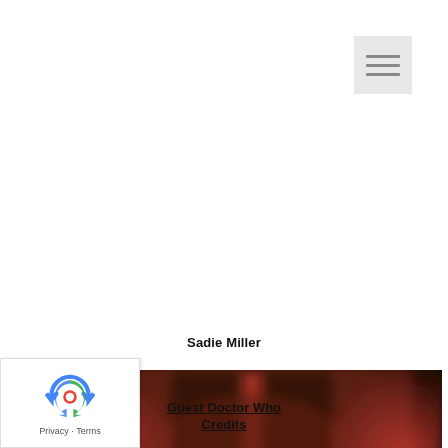[Figure (other): Hamburger menu icon button in top-right corner with grey background and three horizontal lines]
Sadie Miller
[Figure (photo): Blurry red and dark orange abstract image, appears to be a theatrical or sci-fi scene]
Guest Doctor Who Credits
[Figure (logo): reCAPTCHA badge with Privacy and Terms text in bottom-left corner]